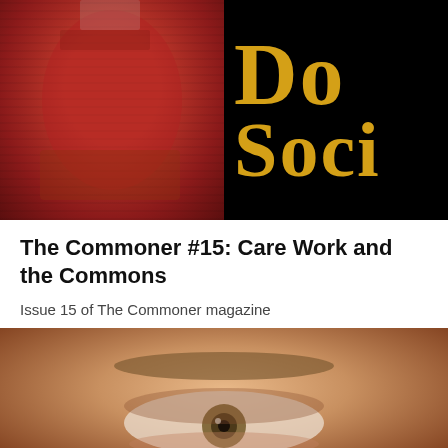[Figure (photo): Two photos side by side: left shows a person in a red shirt, right shows a black background with yellow/gold serif text reading 'Do' and 'Soci' (partially visible)]
The Commoner #15: Care Work and the Commons
Issue 15 of The Commoner magazine
[Figure (photo): Close-up photograph of a human eye and eyebrow, skin tones visible]